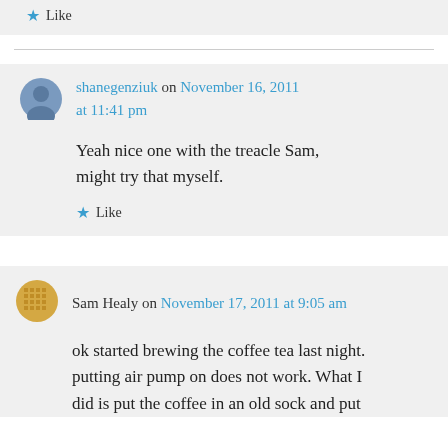★ Like
shanegenziuk on November 16, 2011 at 11:41 pm
Yeah nice one with the treacle Sam, might try that myself.
★ Like
Sam Healy on November 17, 2011 at 9:05 am
ok started brewing the coffee tea last night. putting air pump on does not work. What I did is put the coffee in an old sock and put